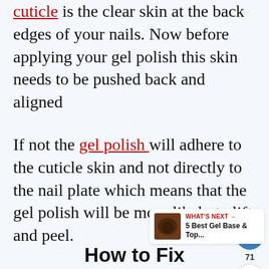The cuticle is the clear skin at the back edges of your nails. Now before applying your gel polish this skin needs to be pushed back and aligned
If not the gel polish will adhere to the cuticle skin and not directly to the nail plate which means that the gel polish will be more likely to lift and peel.
How to Fix
[Figure (screenshot): UI widget showing heart/like button (blue circle with heart icon), like count 71, and share button (white circle with share icon)]
[Figure (screenshot): What's Next widget showing thumbnail image and text: WHAT'S NEXT → 5 Best Gel Base & Top...]